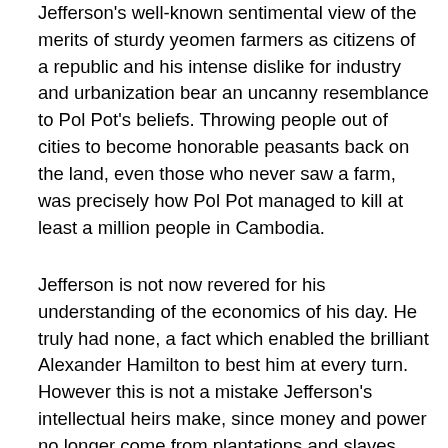Jefferson's well-known sentimental view of the merits of sturdy yeomen farmers as citizens of a republic and his intense dislike for industry and urbanization bear an uncanny resemblance to Pol Pot's beliefs. Throwing people out of cities to become honorable peasants back on the land, even those who never saw a farm, was precisely how Pol Pot managed to kill at least a million people in Cambodia.
Jefferson is not now revered for his understanding of the economics of his day. He truly had none, a fact which enabled the brilliant Alexander Hamilton to best him at every turn. However this is not a mistake Jefferson's intellectual heirs make, since money and power no longer come from plantations and slaves. They understand money and pursue the principles of economics narrowly often to the exclusion of other important goals in society.